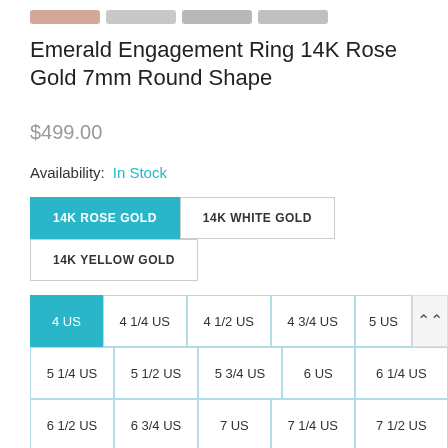[Figure (other): Thumbnail image swatches for product images: rose/peach, light grey, medium grey, light grey]
Emerald Engagement Ring 14K Rose Gold 7mm Round Shape
$499.00
Availability: In Stock
14K ROSE GOLD | 14K WHITE GOLD | 14K YELLOW GOLD — material selector buttons
Size selector: 4 US (selected), 4 1/4 US, 4 1/2 US, 4 3/4 US, 5 US, 5 1/4 US, 5 1/2 US, 5 3/4 US, 6 US, 6 1/4 US, 6 1/2 US, 6 3/4 US, 7 US, 7 1/4 US, 7 1/2 US, 7 3/4 US, 8 US, 8 1/4 US, 8 1/2 US